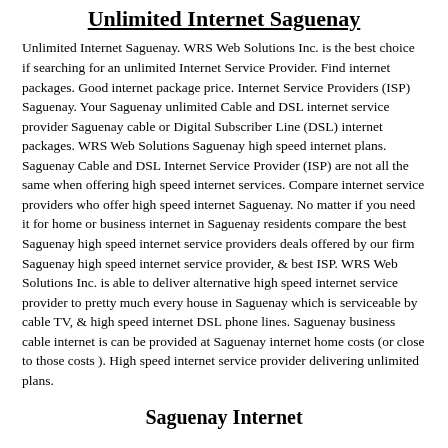Unlimited Internet Saguenay
Unlimited Internet Saguenay. WRS Web Solutions Inc. is the best choice if searching for an unlimited Internet Service Provider. Find internet packages. Good internet package price. Internet Service Providers (ISP) Saguenay. Your Saguenay unlimited Cable and DSL internet service provider Saguenay cable or Digital Subscriber Line (DSL) internet packages. WRS Web Solutions Saguenay high speed internet plans. Saguenay Cable and DSL Internet Service Provider (ISP) are not all the same when offering high speed internet services. Compare internet service providers who offer high speed internet Saguenay. No matter if you need it for home or business internet in Saguenay residents compare the best Saguenay high speed internet service providers deals offered by our firm Saguenay high speed internet service provider, & best ISP. WRS Web Solutions Inc. is able to deliver alternative high speed internet service provider to pretty much every house in Saguenay which is serviceable by cable TV, & high speed internet DSL phone lines. Saguenay business cable internet is can be provided at Saguenay internet home costs (or close to those costs ). High speed internet service provider delivering unlimited plans.
Saguenay Internet